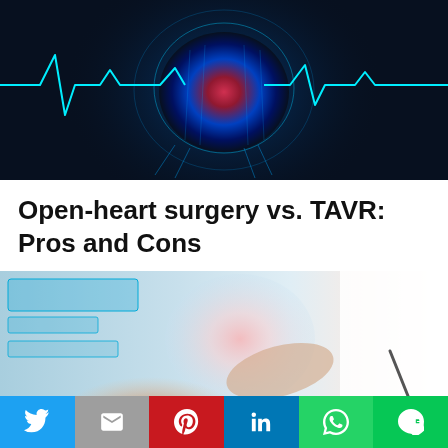[Figure (photo): Dark blue medical illustration showing a glowing heart with ECG/heartbeat line overlay, X-ray style visualization on dark background]
Open-heart surgery vs. TAVR: Pros and Cons
[Figure (photo): Doctor in white coat pointing at a holographic heart display, light blue and flesh-toned background]
Social share bar with Twitter, Gmail, Pinterest, LinkedIn, WhatsApp, LINE buttons